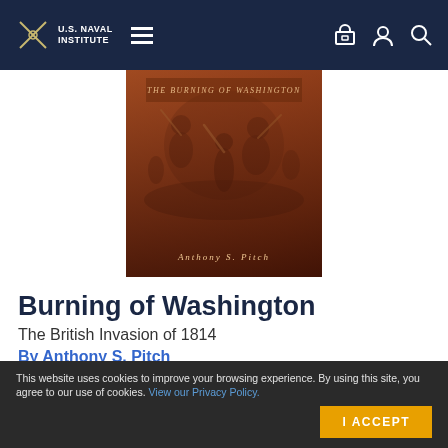U.S. Naval Institute
[Figure (illustration): Book cover for 'Burning of Washington: The British Invasion of 1814' by Anthony S. Pitch. The cover features a dark reddish-brown illustration of soldiers in battle. The author name 'Anthony S. Pitch' is shown in italic text at the bottom.]
Burning of Washington
The British Invasion of 1814
By Anthony S. Pitch
With all the immediacy of an eyewitness account, Anthony Pitch tells the dramatic story of the British invasion of Washington
This website uses cookies to improve your browsing experience. By using this site, you agree to our use of cookies. View our Privacy Policy.